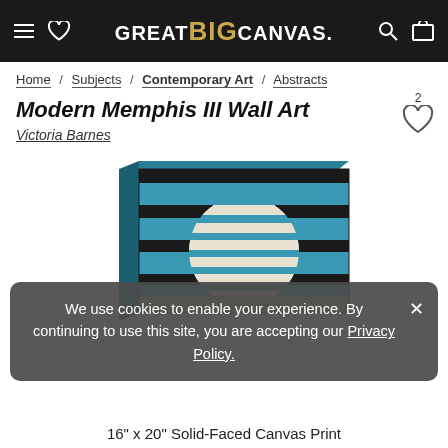GREAT BIG CANVAS.
Home / Subjects / Contemporary Art / Abstracts
Modern Memphis III Wall Art
Victoria Barnes
[Figure (photo): Canvas wall art product image showing abstract Memphis-style design with teal/black horizontal stripes and a white striped circle on a teal background, shown as a 3D canvas wrap]
We use cookies to enable your experience. By continuing to use this site, you are accepting our Privacy Policy.
16" x 20" Solid-Faced Canvas Print
$72.49  $144.99  50% OFF - Ends Soon!